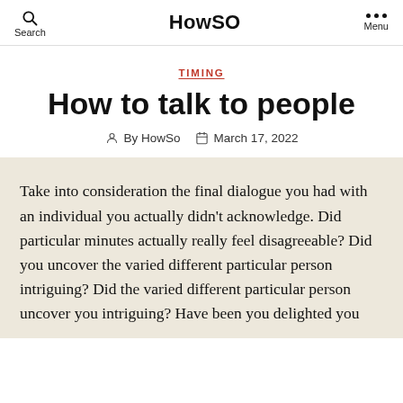Search | HowSO | Menu
TIMING
How to talk to people
By HowSo   March 17, 2022
Take into consideration the final dialogue you had with an individual you actually didn’t acknowledge. Did particular minutes actually really feel disagreeable? Did you uncover the varied different particular person intriguing? Did the varied different particular person uncover you intriguing? Have been you delighted you